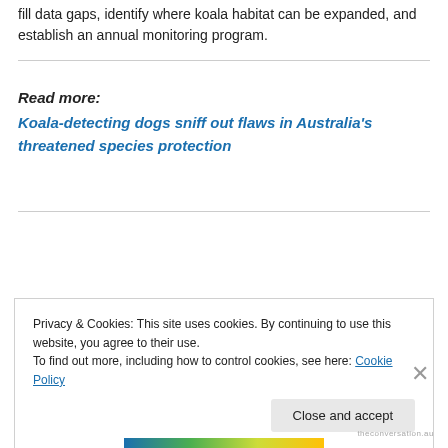fill data gaps, identify where koala habitat can be expanded, and establish an annual monitoring program.
Read more:
Koala-detecting dogs sniff out flaws in Australia's threatened species protection
Privacy & Cookies: This site uses cookies. By continuing to use this website, you agree to their use.
To find out more, including how to control cookies, see here: Cookie Policy
Close and accept